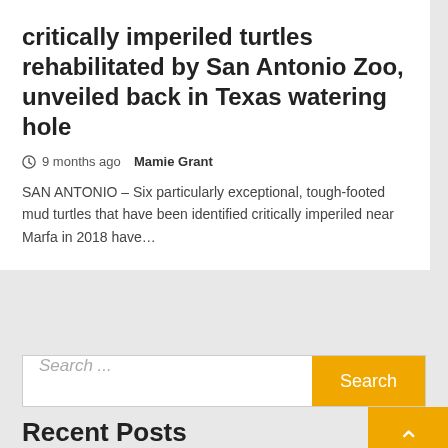critically imperiled turtles rehabilitated by San Antonio Zoo, unveiled back in Texas watering hole
9 months ago  Mamie Grant
SAN ANTONIO – Six particularly exceptional, tough-footed mud turtles that have been identified critically imperiled near Marfa in 2018 have...
Search ...
Recent Posts